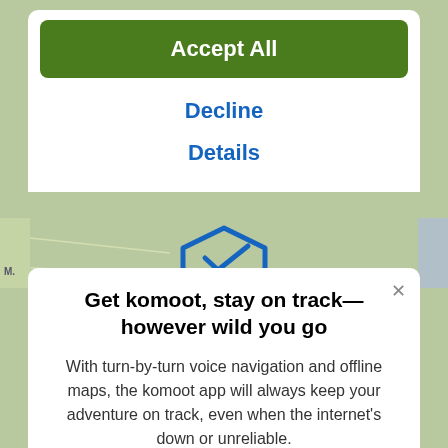Accept All
Decline
Details
[Figure (screenshot): Map strip showing a blue route/trail icon on a topographic map background]
Get komoot, stay on track—however wild you go
With turn-by-turn voice navigation and offline maps, the komoot app will always keep your adventure on track, even when the internet's down or unreliable.
[Figure (logo): Download on the App Store badge — black rounded rectangle with Apple logo and 'Download on the App Store' text]